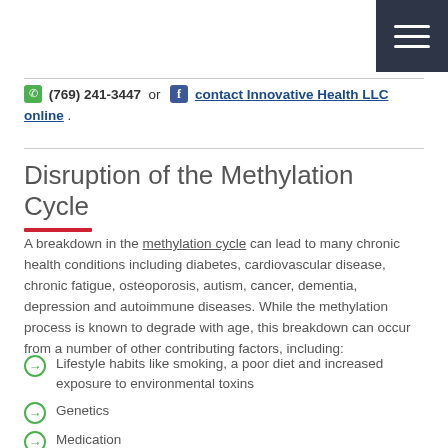[Figure (other): Dark navy hamburger menu icon in top-right corner]
(769) 241-3447 or contact Innovative Health LLC online .
Disruption of the Methylation Cycle
A breakdown in the methylation cycle can lead to many chronic health conditions including diabetes, cardiovascular disease, chronic fatigue, osteoporosis, autism, cancer, dementia, depression and autoimmune diseases. While the methylation process is known to degrade with age, this breakdown can occur from a number of other contributing factors, including:
Lifestyle habits like smoking, a poor diet and increased exposure to environmental toxins
Genetics
Medication